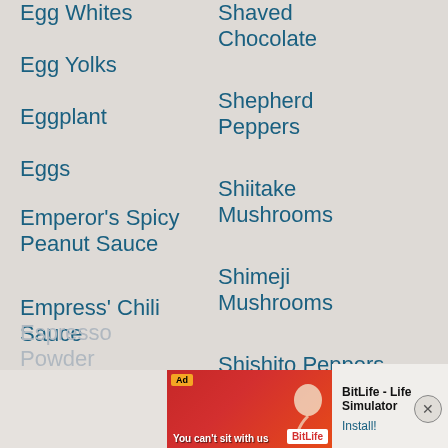Egg Whites
Egg Yolks
Eggplant
Eggs
Emperor's Spicy Peanut Sauce
Empress' Chili Sauce
English Cucumber
English Muffins
Espresso Powder
Shaved Chocolate
Shepherd Peppers
Shiitake Mushrooms
Shimeji Mushrooms
Shishito Peppers
Short Grain Rice
Short-Grain